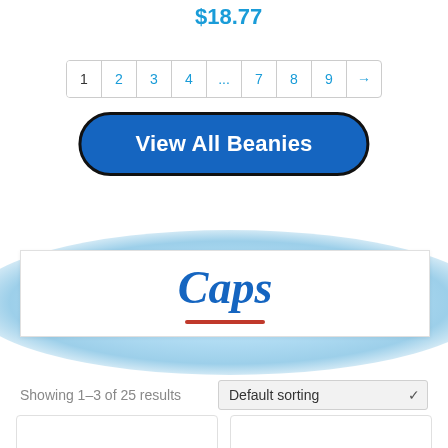$18.77
[Figure (screenshot): Pagination control showing pages 1 2 3 4 ... 7 8 9 and a right arrow]
[Figure (screenshot): Blue rounded button labeled View All Beanies with dark border]
Caps
Showing 1–3 of 25 results
Default sorting
[Figure (photo): Two white cap product photos side by side, partially visible at bottom of page]